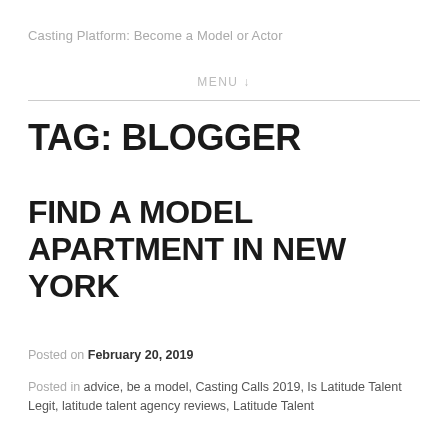Casting Platform: Become a Model or Actor
MENU ↓
TAG: BLOGGER
FIND A MODEL APARTMENT IN NEW YORK
Posted on February 20, 2019
Posted in advice, be a model, Casting Calls 2019, Is Latitude Talent Legit, latitude talent agency reviews, Latitude Talent